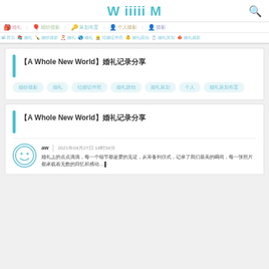WiiiiM
婚礼 婚纱摄影 策划布置 个人摄影 摄影 结婚证件照 婚礼跟拍 婚礼策划 婚礼摄影
首页 婚礼 婚纱 婚礼策划布置 婚礼 婚礼 结婚证件照 婚礼跟拍 婚礼策划 婚礼摄影
【A Whole New World】婚礼记录分享
婚纱摄影 婚礼 结婚证件照 婚礼跟拍 婚礼策划 个人 婚礼策划布置
【A Whole New World】婚礼记录分享
aw  2021年04月27日 14时34分
婚礼上的点点滴滴，每一个细节都是爱的见证，从筹备到仪式，记录了我们最美的瞬间....▌